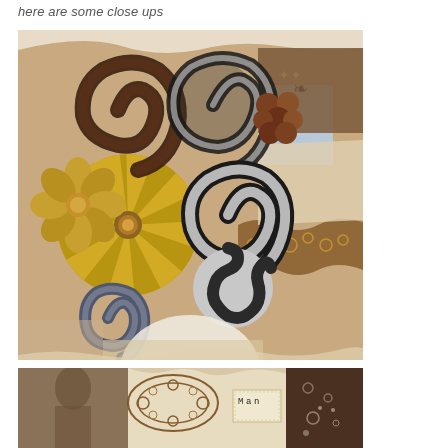here are some close ups
[Figure (photo): Close-up photo of a handmade craft/scrapbook layout featuring decorative paper flowers in brown, gold, and black-and-white patterns, a paper pinwheel/rosette with a bronze brad center, lace doily trim in brown, and torn paper collage elements on a tan/kraft background]
[Figure (photo): Close-up photo of the lower portion of a scrapbook layout showing a sepia-toned vintage photo of a person, brown lace/filigree die-cut, torn cream paper with stamped letters spelling 'Man', and a dark brown patterned paper strip with decorative elements]